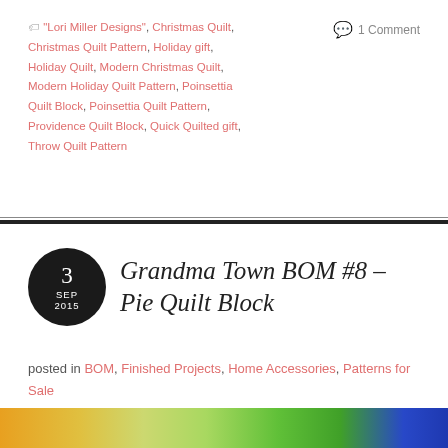🏷 "Lori Miller Designs", Christmas Quilt, Christmas Quilt Pattern, Holiday gift, Holiday Quilt, Modern Christmas Quilt, Modern Holiday Quilt Pattern, Poinsettia Quilt Block, Poinsettia Quilt Pattern, Providence Quilt Block, Quick Quilted gift, Throw Quilt Pattern
💬 1 Comment
Grandma Town BOM #8 – Pie Quilt Block
posted in BOM, Finished Projects, Home Accessories, Patterns for Sale
[Figure (photo): Colorful quilted fabric strip showing orange, yellow, green, and blue fabric patches at the bottom of the page]